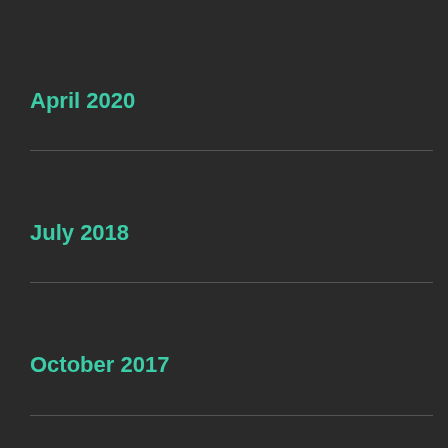April 2020
July 2018
October 2017
September 2017
June 2017
April 2017
January 2017
December 2016